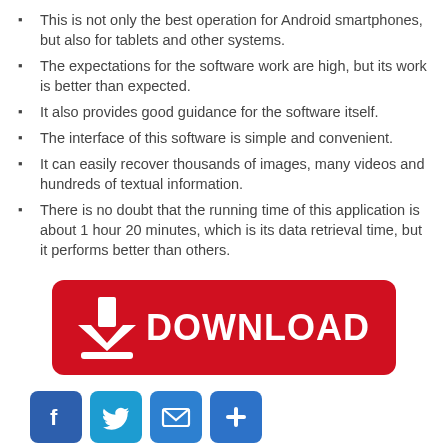This is not only the best operation for Android smartphones, but also for tablets and other systems.
The expectations for the software work are high, but its work is better than expected.
It also provides good guidance for the software itself.
The interface of this software is simple and convenient.
It can easily recover thousands of images, many videos and hundreds of textual information.
There is no doubt that the running time of this application is about 1 hour 20 minutes, which is its data retrieval time, but it performs better than others.
[Figure (other): Red download button with white download arrow icon and white DOWNLOAD text]
[Figure (other): Social sharing icons row: Facebook (blue F), Twitter (blue bird), Email (blue envelope), Add/share (blue plus)]